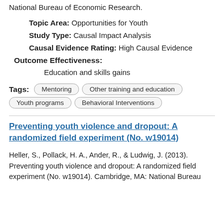National Bureau of Economic Research.
Topic Area: Opportunities for Youth
Study Type: Causal Impact Analysis
Causal Evidence Rating: High Causal Evidence
Outcome Effectiveness:
Education and skills gains
Tags: Mentoring  Other training and education  Youth programs  Behavioral Interventions
Preventing youth violence and dropout: A randomized field experiment (No. w19014)
Heller, S., Pollack, H. A., Ander, R., & Ludwig, J. (2013). Preventing youth violence and dropout: A randomized field experiment (No. w19014). Cambridge, MA: National Bureau